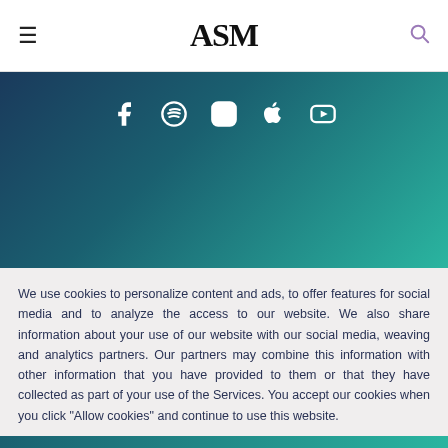ASM
[Figure (illustration): Gradient teal/navy banner with social media icons: Facebook, Spotify, Instagram, Apple, YouTube]
We use cookies to personalize content and ads, to offer features for social media and to analyze the access to our website. We also share information about your use of our website with our social media, weaving and analytics partners. Our partners may combine this information with other information that you have provided to them or that they have collected as part of your use of the Services. You accept our cookies when you click "Allow cookies" and continue to use this website.
ALLOW COOKIES
PRIVACY POLICY